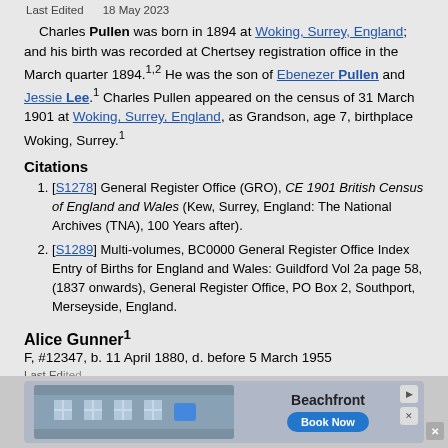Last Edited   18 May 2023
Charles Pullen was born in 1894 at Woking, Surrey, England; and his birth was recorded at Chertsey registration office in the March quarter 1894.^1,2 He was the son of Ebenezer Pullen and Jessie Lee.^1 Charles Pullen appeared on the census of 31 March 1901 at Woking, Surrey, England, as Grandson, age 7, birthplace Woking, Surrey.^1
Citations
[S1278] General Register Office (GRO), CE 1901 British Census of England and Wales (Kew, Surrey, England: The National Archives (TNA), 100 Years after).
[S1289] Multi-volumes, BC0000 General Register Office Index Entry of Births for England and Wales: Guildford Vol 2a page 58, (1837 onwards), General Register Office, PO Box 2, Southport, Merseyside, England.
Alice Gunner^1
F, #12347, b. 11 April 1880, d. before 5 March 1955
Last Ed...
[Figure (photo): Advertisement banner for Beachfront with Book Now button]